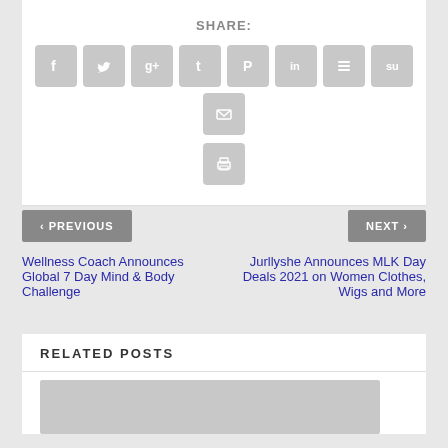SHARE:
[Figure (infographic): Row of social share icon buttons: Facebook, Twitter, Google+, Tumblr, Pinterest, LinkedIn, Buffer, StumbleUpon, Email, and a Print button below]
< PREVIOUS
NEXT >
Wellness Coach Announces Global 7 Day Mind & Body Challenge
Jurllyshe Announces MLK Day Deals 2021 on Women Clothes, Wigs and More
RELATED POSTS
[Figure (photo): Gray placeholder image for a related post thumbnail]